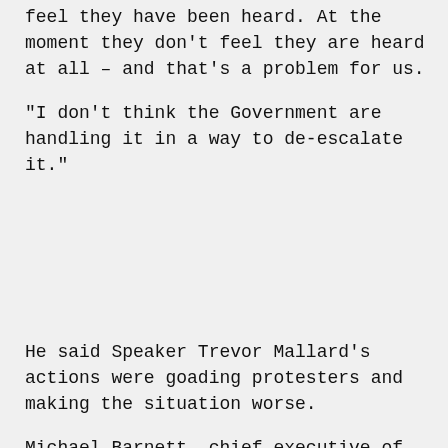feel they have been heard. At the moment they don't feel they are heard at all – and that's a problem for us.
“I don’t think the Government are handling it in a way to de-escalate it.”
He said Speaker Trevor Mallard’s actions were goading protesters and making the situation worse.
Michael Barnett, chief executive of the Auckland Business Chamber of Commerce, said the impacts businesses were facing as no fault of their own was unfortunate given all the other disruption brought about